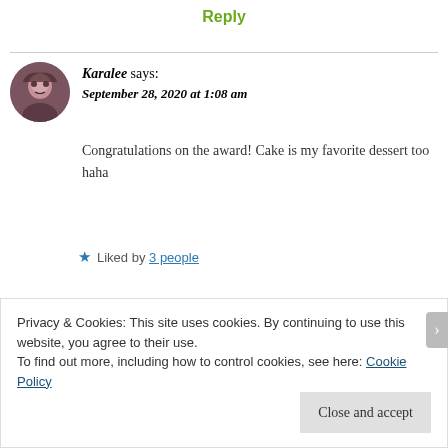Reply
Karalee says: September 28, 2020 at 1:08 am
Congratulations on the award! Cake is my favorite dessert too haha
★ Liked by 3 people
Privacy & Cookies: This site uses cookies. By continuing to use this website, you agree to their use.
To find out more, including how to control cookies, see here: Cookie Policy